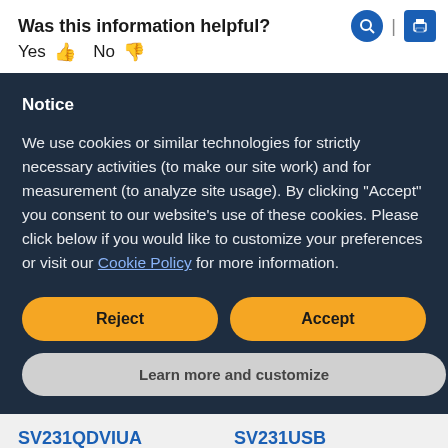Was this information helpful?
Yes 👍 No 👎
Notice
We use cookies or similar technologies for strictly necessary activities (to make our site work) and for measurement (to analyze site usage). By clicking "Accept" you consent to our website's use of these cookies. Please click below if you would like to customize your preferences or visit our Cookie Policy for more information.
Reject | Accept | Learn more and customize
SV231QDVIUA
SV231USB
SV411KUSB
SV431DD2DUA